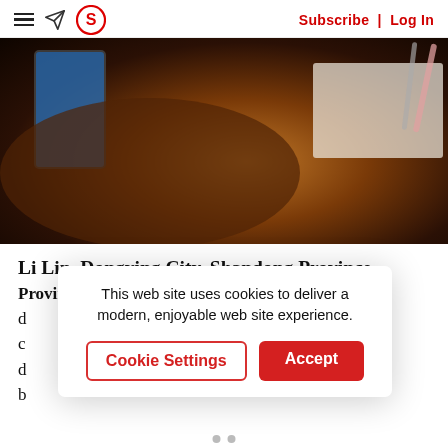Subscribe | Log In
[Figure (photo): A person writing on paper with a smartphone and pens visible on a desk]
Li Lin, Dongying City, Shandong Province.
February 9, 2020 should be the first d... c... d... b...
This web site uses cookies to deliver a modern, enjoyable web site experience.
Cookie Settings  Accept